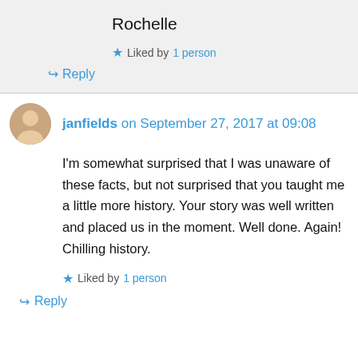Rochelle
Liked by 1 person
↳ Reply
janfields on September 27, 2017 at 09:08
I'm somewhat surprised that I was unaware of these facts, but not surprised that you taught me a little more history. Your story was well written and placed us in the moment. Well done. Again! Chilling history.
Liked by 1 person
↳ Reply